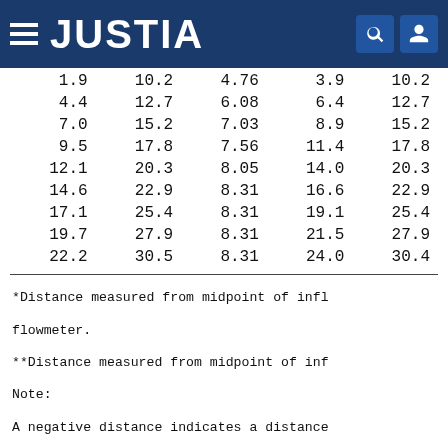JUSTIA
| 1.9 | 10.2 | 4.76 | 3.9 | 10.2 |
| 4.4 | 12.7 | 6.08 | 6.4 | 12.7 |
| 7.0 | 15.2 | 7.03 | 8.9 | 15.2 |
| 9.5 | 17.8 | 7.56 | 11.4 | 17.8 |
| 12.1 | 20.3 | 8.05 | 14.0 | 20.3 |
| 14.6 | 22.9 | 8.31 | 16.6 | 22.9 |
| 17.1 | 25.4 | 8.31 | 19.1 | 25.4 |
| 19.7 | 27.9 | 8.31 | 21.5 | 27.9 |
| 22.2 | 30.5 | 8.31 | 24.0 | 30.4 |
*Distance measured from midpoint of infl flowmeter.
**Distance measured from midpoint of inf
Note:
A negative distance indicates a distance positive distance indicates a distance a estimate error associated with these mea